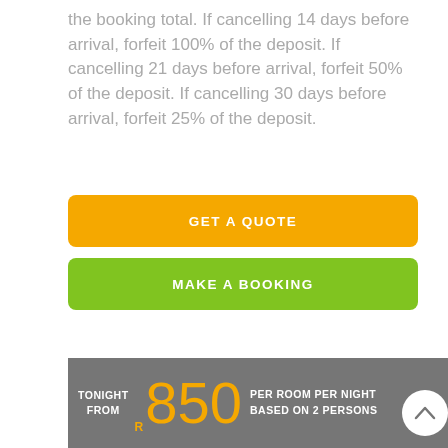the booking total. If cancelling 14 days before arrival, forfeit 100% of the deposit. If cancelling 21 days before arrival, forfeit 50% of the deposit. If cancelling 30 days before arrival, forfeit 25% of the deposit.
GET A QUOTE
MAKE A BOOKING
TONIGHT FROM R 850 PER ROOM PER NIGHT BASED ON 2 PERSONS